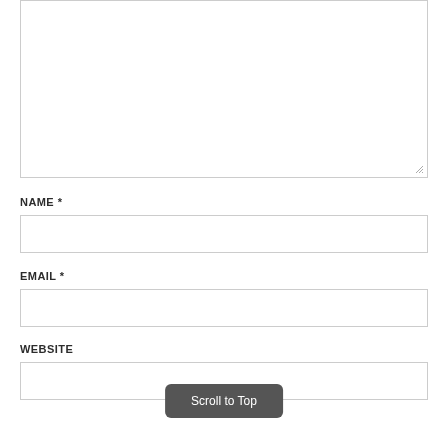[Figure (other): Large textarea comment input box with resize handle at bottom-right corner]
NAME *
[Figure (other): Name text input field, empty]
EMAIL *
[Figure (other): Email text input field, empty]
WEBSITE
[Figure (other): Website text input field, empty]
Scroll to Top